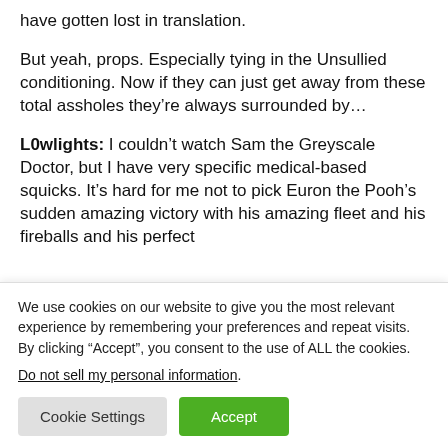have gotten lost in translation.
But yeah, props. Especially tying in the Unsullied conditioning. Now if they can just get away from these total assholes they’re always surrounded by…
L0wlights: I couldn’t watch Sam the Greyscale Doctor, but I have very specific medical-based squicks. It’s hard for me not to pick Euron the Pooh’s sudden amazing victory with his amazing fleet and his fireballs and his perfect
We use cookies on our website to give you the most relevant experience by remembering your preferences and repeat visits. By clicking “Accept”, you consent to the use of ALL the cookies.
Do not sell my personal information.